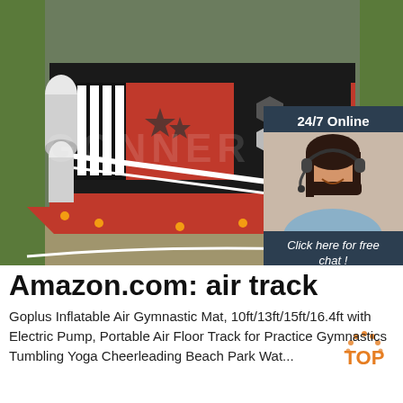[Figure (photo): Aerial view of a large red, black, and white inflatable obstacle course/park on grass. The inflatable structure has multiple sections with towers, slides, tunnels, and various geometric patterns. A customer service chat widget overlay is visible in the top-right corner showing '24/7 Online', a woman wearing a headset, 'Click here for free chat!' text, and a 'QUOTATION' button.]
Amazon.com: air track
Goplus Inflatable Air Gymnastic Mat, 10ft/13ft/15ft/16.4ft with Electric Pump, Portable Air Floor Track for Practice Gymnastics Tumbling Yoga Cheerleading Beach Park Wat...